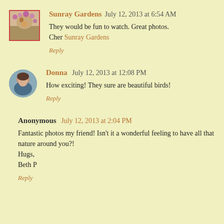Sunray Gardens  July 12, 2013 at 6:54 AM
They would be fun to watch. Great photos.
Cher Sunray Gardens
Reply
Donna  July 12, 2013 at 12:08 PM
How exciting! They sure are beautiful birds!
Reply
Anonymous  July 12, 2013 at 2:04 PM
Fantastic photos my friend! Isn't it a wonderful feeling to have all that nature around you?!
Hugs,
Beth P
Reply